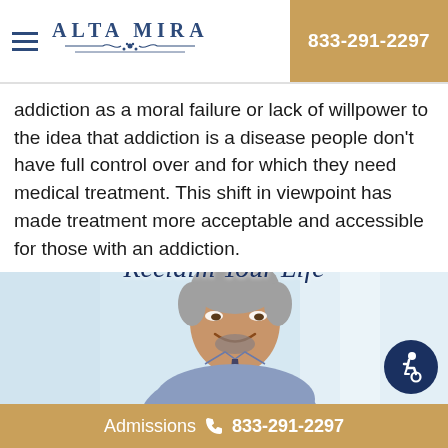ALTA MIRA | 833-291-2297
addiction as a moral failure or lack of willpower to the idea that addiction is a disease people don't have full control over and for which they need medical treatment. This shift in viewpoint has made treatment more acceptable and accessible for those with an addiction.
[Figure (photo): A smiling middle-aged man with a beard and short gray hair, wearing a blue dress shirt and tie, photographed against a light blurred background. Overlaid text reads 'Reclaim Your Life'.]
Admissions 833-291-2297